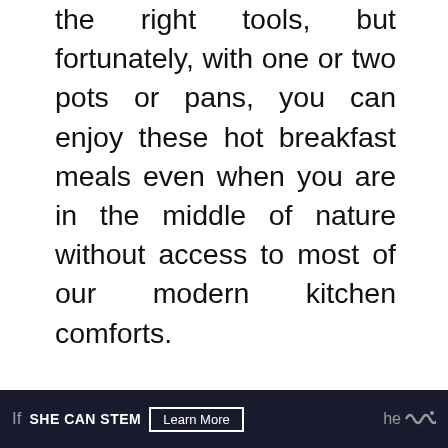the right tools, but fortunately, with one or two pots or pans, you can enjoy these hot breakfast meals even when you are in the middle of nature without access to most of our modern kitchen comforts.
Sausage and Egg Breakfast Quesadillas and Campfire Hash are two great ideas for enjoying your breakfast.
[Figure (infographic): Social sharing widget with heart/like button showing 3 shares, and a teal share icon button. Also a 'What's Next' card showing a food image with text 'Built The Best Vegan...']
If  SHE CAN STEM  Learn More  he